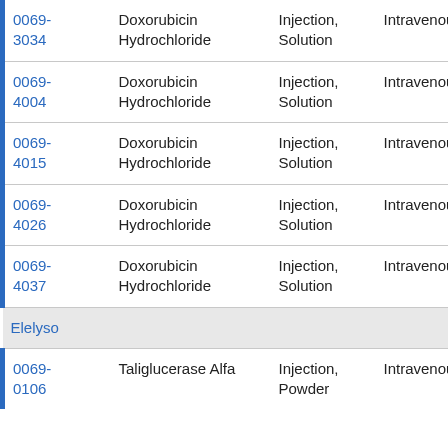| NDC | Name | Form/Type | Route |
| --- | --- | --- | --- |
| 0069-3034 | Doxorubicin Hydrochloride | Injection, Solution | Intravenous |
| 0069-4004 | Doxorubicin Hydrochloride | Injection, Solution | Intravenous |
| 0069-4015 | Doxorubicin Hydrochloride | Injection, Solution | Intravenous |
| 0069-4026 | Doxorubicin Hydrochloride | Injection, Solution | Intravenous |
| 0069-4037 | Doxorubicin Hydrochloride | Injection, Solution | Intravenous |
| Elelyso |  |  |  |
| 0069-0106 | Taliglucerase Alfa | Injection, Powder | Intravenous |